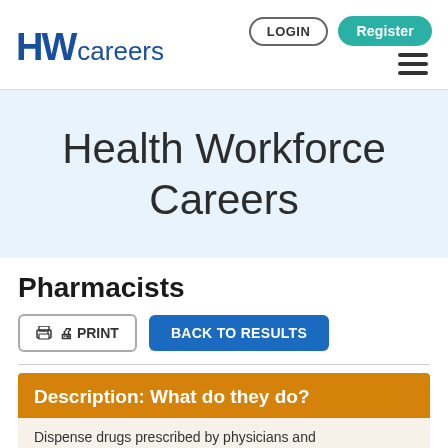HW careers — LOGIN | Register
Health Workforce Careers
Pharmacists
PRINT | BACK TO RESULTS
Description: What do they do?
Dispense drugs prescribed by physicians and